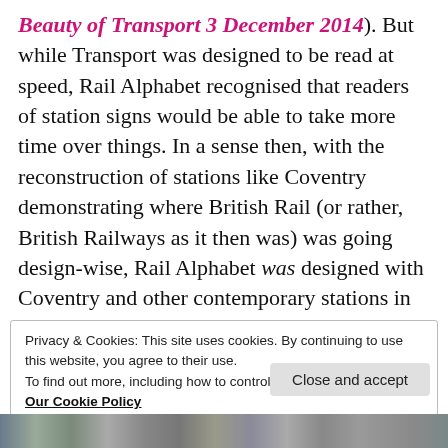Beauty of Transport 3 December 2014). But while Transport was designed to be read at speed, Rail Alphabet recognised that readers of station signs would be able to take more time over things. In a sense then, with the reconstruction of stations like Coventry demonstrating where British Rail (or rather, British Railways as it then was) was going design-wise, Rail Alphabet was designed with Coventry and other contemporary stations in mind. The metal frame of the timetable poster board in the ticket still has “Train Information” engraved on it, in Transport.
Privacy & Cookies: This site uses cookies. By continuing to use this website, you agree to their use.
To find out more, including how to control cookies, see here:
Our Cookie Policy
Close and accept
[Figure (photo): Partial photo strip at bottom of page showing multiple thumbnails of transport-related images]